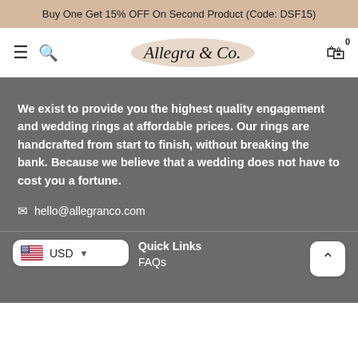Buy One Get 15% OFF On Second Product (Code: DSF15)
[Figure (logo): Allegra & Co. logo in cursive script with tan/beige brushstroke background]
We exist to provide you the highest quality engagement and wedding rings at affordable prices. Our rings are handcrafted from start to finish, without breaking the bank. Because we believe that a wedding does not have to cost you a fortune.
hello@allegranco.com
USD
Quick Links
FAQs